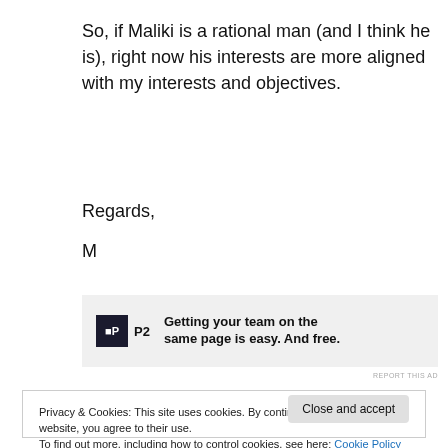So, if Maliki is a rational man (and I think he is), right now his interests are more aligned with my interests and objectives.
Regards,
M
[Figure (other): Advertisement banner for P2: 'Getting your team on the same page is easy. And free.']
REPORT THIS AD
Privacy & Cookies: This site uses cookies. By continuing to use this website, you agree to their use.
To find out more, including how to control cookies, see here: Cookie Policy